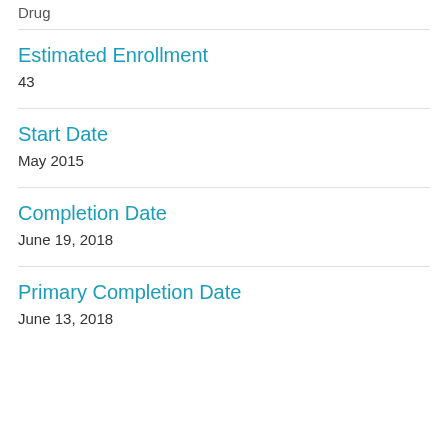Drug
Estimated Enrollment
43
Start Date
May 2015
Completion Date
June 19, 2018
Primary Completion Date
June 13, 2018